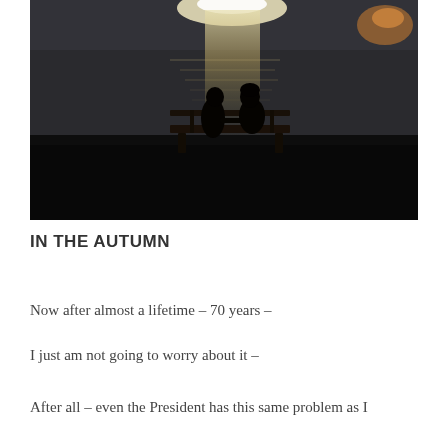[Figure (photo): Dark photograph of two people silhouetted sitting on a bench or dock by a body of water at dusk or night, with a bright reflection of light (possibly moonlight or streetlight) on the water behind them.]
IN THE AUTUMN
Now after almost a lifetime – 70 years –
I just am not going to worry about it –
After all – even the President has this same problem as I